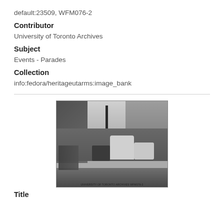default:23509, WFM076-2
Contributor
University of Toronto Archives
Subject
Events - Parades
Collection
info:fedora/heritageutarms:image_bank
[Figure (photo): Black and white photograph of a parade on a street, with parade floats and a tractor visible. Buildings and leafless trees are in the background. People line the street.]
Title